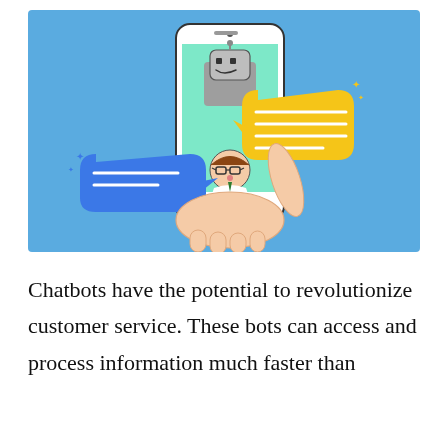[Figure (illustration): Illustration of a hand holding a smartphone with a mint-green screen. On the screen is a robot (chatbot) avatar at the top and a person with glasses avatar at the bottom. A yellow speech bubble points from the robot toward the right, and a blue speech bubble points from the person toward the left. The background of the image is a sky-blue rectangle.]
Chatbots have the potential to revolutionize customer service. These bots can access and process information much faster than